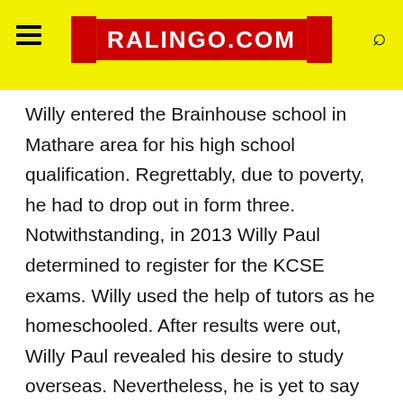RALINGO.COM
Willy entered the Brainhouse school in Mathare area for his high school qualification. Regrettably, due to poverty, he had to drop out in form three. Notwithstanding, in 2013 Willy Paul determined to register for the KCSE exams. Willy used the help of tutors as he homeschooled. After results were out, Willy Paul revealed his desire to study overseas. Nevertheless, he is yet to say whether or not he registered or concluded studies in the US.